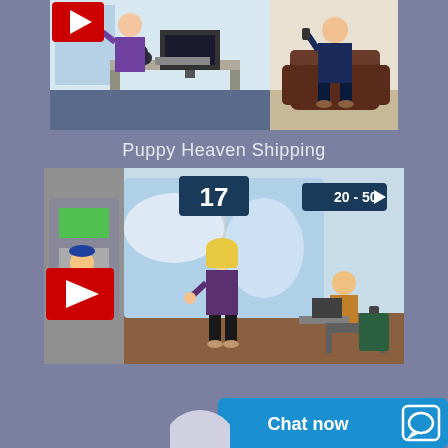[Figure (screenshot): Animated video thumbnail showing two cartoon characters: a person in purple at a desk with a computer, and a person in dark blue sitting in a brown armchair. A red YouTube play button is visible in the top-left corner.]
Puppy Heaven Shipping
[Figure (screenshot): Animated video thumbnail showing an airport scene. A blonde woman stands in the center, a ticket agent in blue is at left, gate sign '17' and directional sign '20-50' are visible, and a man sits in the waiting area. A red YouTube play button is visible.]
[Figure (screenshot): Partial view of a chat widget at the bottom right with 'Chat now' text in white on a blue background and a speech bubble icon.]